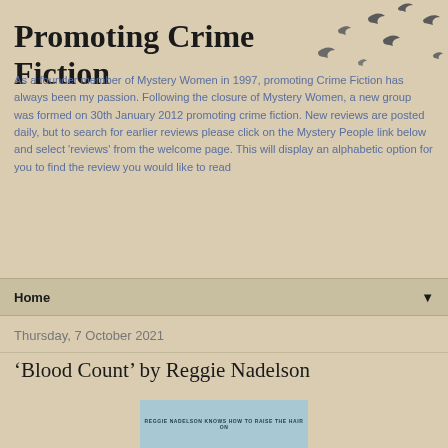[Figure (illustration): Silhouettes of flying birds in dark grey, scattered across the upper right of the header area, suggesting a flock in flight.]
Promoting Crime Fiction
As a founder member of Mystery Women in 1997, promoting Crime Fiction has always been my passion. Following the closure of Mystery Women, a new group was formed on 30th January 2012 promoting crime fiction. New reviews are posted daily, but to search for earlier reviews please click on the Mystery People link below and select 'reviews' from the welcome page. This will display an alphabetic option for you to find the review you would like to read
Home ▼
Thursday, 7 October 2021
'Blood Count' by Reggie Nadelson
[Figure (photo): Partial view of the book cover for 'Blood Count' by Reggie Nadelson, with a blue banner at the top reading 'REGGIE NADELSON KNOWS HOW TO RAISE THE HAIR ON']